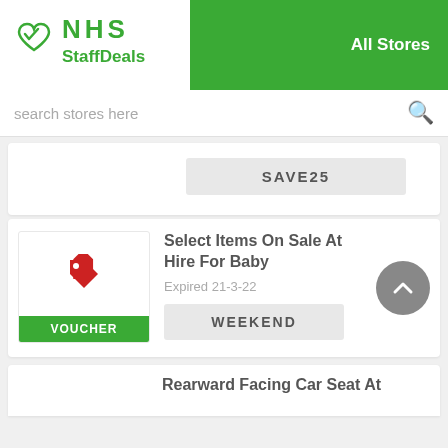NHS StaffDeals — All Stores
search stores here
SAVE25
Select Items On Sale At Hire For Baby
Expired 21-3-22
WEEKEND
Rearward Facing Car Seat At